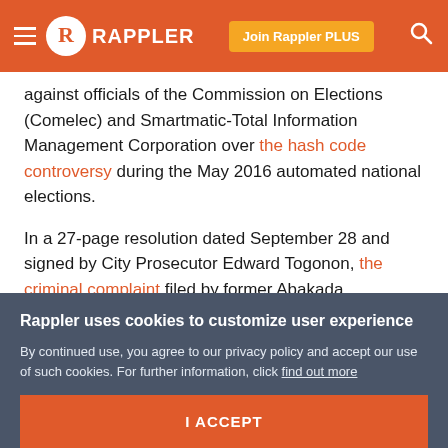RAPPLER
against officials of the Commission on Elections (Comelec) and Smartmatic-Total Information Management Corporation over the hash code controversy during the May 2016 automated national elections.
In a 27-page resolution dated September 28 and signed by City Prosecutor Edward Togonon, the criminal complaint filed by former Abakada Representative Jonathan dela Cruz was dismissed for lack of merit and insufficiency of evidence.
Rappler uses cookies to customize user experience
By continued use, you agree to our privacy policy and accept our use of such cookies. For further information, click find out more
I ACCEPT